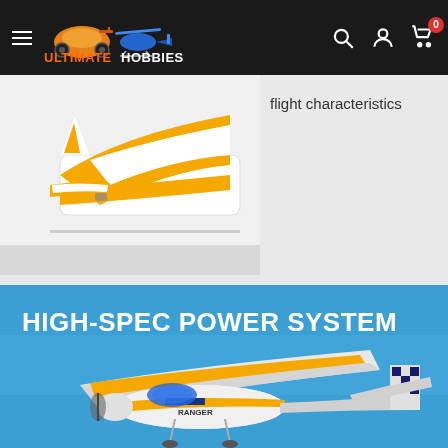Ultimate Hobbies - navigation bar with logo, search, user, and cart icons
[Figure (photo): Close-up photo of a yellow and white RC airplane tail section showing the rear stabilizer and fuselage]
flight characteristics
HIGH-SPEC POWER SYSTEM
[Figure (photo): Photo of a yellow and white RC Ranger airplane (by HobbyZone or similar brand) in flight against a blue sky, showing the aircraft from below at an angle, with checkered blue/black wing tip visible]